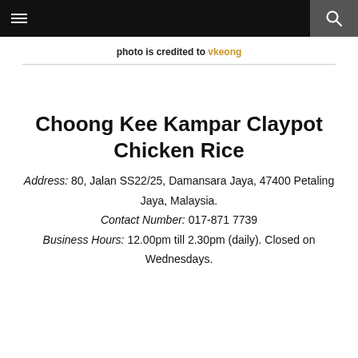☰  🔍
photo is credited to vkeong
Choong Kee Kampar Claypot Chicken Rice
Address: 80, Jalan SS22/25, Damansara Jaya, 47400 Petaling Jaya, Malaysia.
Contact Number: 017-871 7739
Business Hours: 12.00pm till 2.30pm (daily). Closed on Wednesdays.